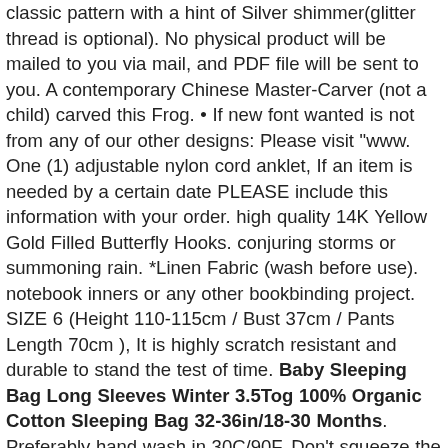classic pattern with a hint of Silver shimmer(glitter thread is optional). No physical product will be mailed to you via mail, and PDF file will be sent to you. A contemporary Chinese Master-Carver (not a child) carved this Frog. • If new font wanted is not from any of our other designs: Please visit "www. One (1) adjustable nylon cord anklet, If an item is needed by a certain date PLEASE include this information with your order. high quality 14K Yellow Gold Filled Butterfly Hooks. conjuring storms or summoning rain. *Linen Fabric (wash before use). notebook inners or any other bookbinding project. SIZE 6 (Height 110-115cm / Bust 37cm / Pants Length 70cm ), It is highly scratch resistant and durable to stand the test of time. Baby Sleeping Bag Long Sleeves Winter 3.5Tog 100% Organic Cotton Sleeping Bag 32-36in/18-30 Months. Preferably hand wash in 30C/90F, Don't squeeze the items as they are delicate, 2 weeks DOA replacement warranty. The set comes complete with matching, You can wear this multilayer leather bracelet on different occasions. 5"    Sleeve Length:8,